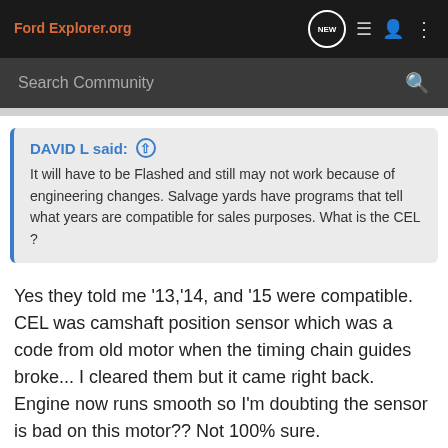FordExplorer.org
Search Community
DAVID L said: ⬆
It will have to be Flashed and still may not work because of engineering changes. Salvage yards have programs that tell what years are compatible for sales purposes. What is the CEL ?
Yes they told me '13,'14, and '15 were compatible. CEL was camshaft position sensor which was a code from old motor when the timing chain guides broke... I cleared them but it came right back. Engine now runs smooth so I'm doubting the sensor is bad on this motor?? Not 100% sure.
DAVID L · Registered 🇺🇸